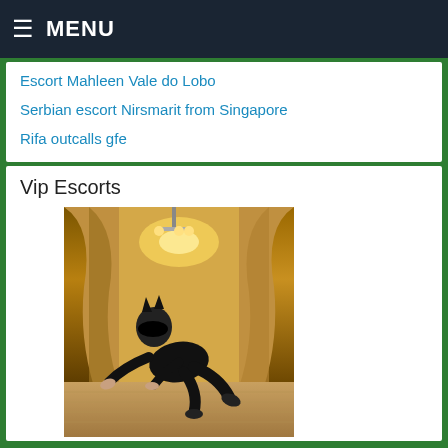MENU
Escort Mahleen Vale do Lobo
Serbian escort Nirsmarit from Singapore
Rifa outcalls gfe
Vip Escorts
[Figure (photo): Person dressed in black latex catwoman costume with cat-ear mask, posed on all fours on a wooden floor, with golden curtain backdrop and chandelier lighting in background.]